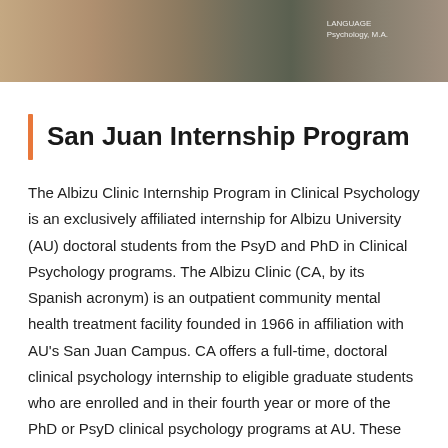[Figure (photo): A cropped photo strip showing people seated together, with partial text visible on the right side reading 'LANGUAGE' and 'Psychology, M.A.']
San Juan Internship Program
The Albizu Clinic Internship Program in Clinical Psychology is an exclusively affiliated internship for Albizu University (AU) doctoral students from the PsyD and PhD in Clinical Psychology programs. The Albizu Clinic (CA, by its Spanish acronym) is an outpatient community mental health treatment facility founded in 1966 in affiliation with AU's San Juan Campus. CA offers a full-time, doctoral clinical psychology internship to eligible graduate students who are enrolled and in their fourth year or more of the PhD or PsyD clinical psychology programs at AU. These programs are accredited by the American Psychological Association (APA).